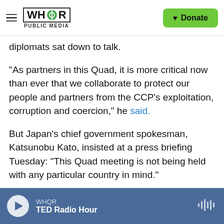WHQR PUBLIC MEDIA | Donate
diplomats sat down to talk.
"As partners in this Quad, it is more critical now than ever that we collaborate to protect our people and partners from the CCP's exploitation, corruption and coercion," he said.
But Japan's chief government spokesman, Katsunobu Kato, insisted at a press briefing Tuesday: "This Quad meeting is not being held with any particular country in mind."
A State Department readout said that Pompeo discussed concerns over China's "malign activity" in
WHQR | TED Radio Hour